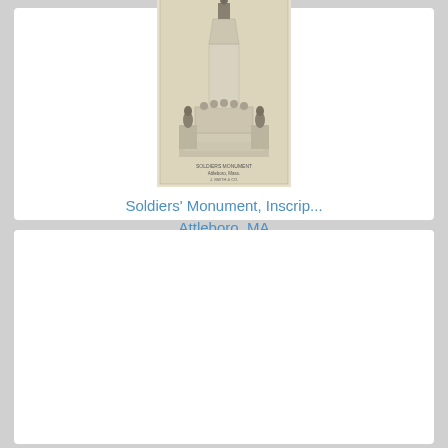[Figure (photo): Black and white illustration/photo of a soldiers' monument with a soldier statue on top of a tall column, and two additional soldier figures flanking the base on pedestals. Text at the bottom of the image reads 'Soldiers Monument, Attleboro, Mass.']
Soldiers' Monument, Inscrip...
Attleboro, MA